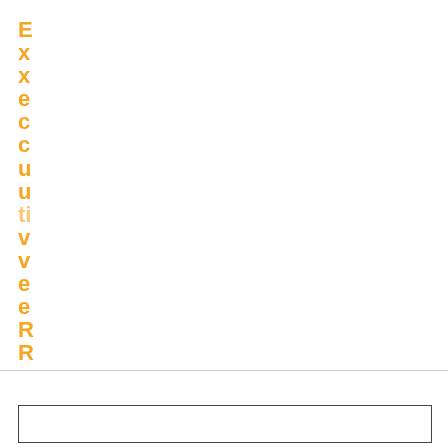ExecutiveReshow
[Figure (other): Empty white rectangle box outline at bottom of page]